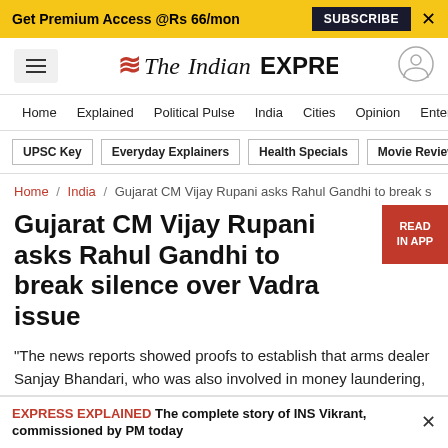Get Premium Access @Rs 66/mon  SUBSCRIBE  X
[Figure (logo): The Indian Express logo with hamburger menu and user icon]
Home  Explained  Political Pulse  India  Cities  Opinion  Entertainment
UPSC Key  Everyday Explainers  Health Specials  Movie Reviews
Home / India / Gujarat CM Vijay Rupani asks Rahul Gandhi to break s
Gujarat CM Vijay Rupani asks Rahul Gandhi to break silence over Vadra issue
"The news reports showed proofs to establish that arms dealer Sanjay Bhandari, who was also involved in money laundering, bought air tickets for Vadra. Why an arms dealer bought tickets for Vadra? said CM Vijay Rupani
EXPRESS EXPLAINED The complete story of INS Vikrant, commissioned by PM today  X